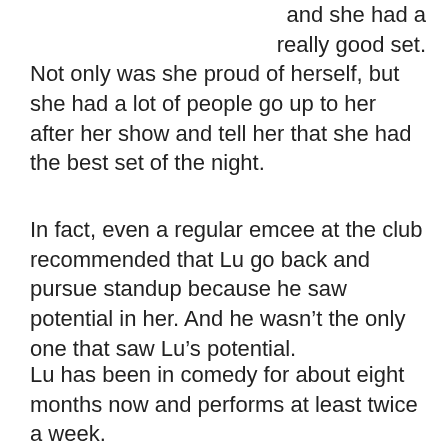and she had a really good set. Not only was she proud of herself, but she had a lot of people go up to her after her show and tell her that she had the best set of the night.
In fact, even a regular emcee at the club recommended that Lu go back and pursue standup because he saw potential in her. And he wasn't the only one that saw Lu's potential.
Lu has been in comedy for about eight months now and performs at least twice a week.
Her jokes usually involve observations she has made in her life and addressing commonalities between her and the audience